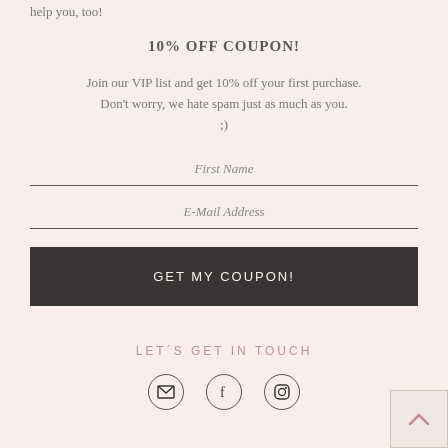help you, too!
10% OFF COUPON!
Join our VIP list and get 10% off your first purchase.
Don't worry, we hate spam just as much as you. ;)
First Name
E-Mail Address
GET MY COUPON!
LET´S GET IN TOUCH